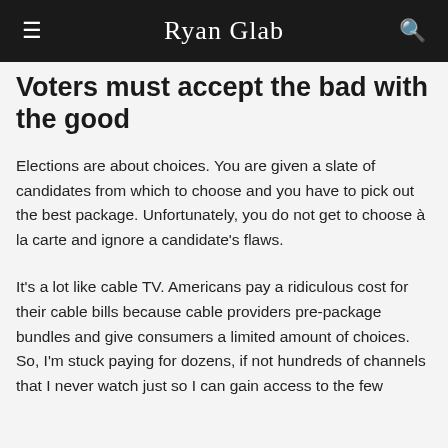Ryan Glab
Voters must accept the bad with the good
Elections are about choices. You are given a slate of candidates from which to choose and you have to pick out the best package. Unfortunately, you do not get to choose à la carte and ignore a candidate's flaws.
It's a lot like cable TV. Americans pay a ridiculous cost for their cable bills because cable providers pre-package bundles and give consumers a limited amount of choices. So, I'm stuck paying for dozens, if not hundreds of channels that I never watch just so I can gain access to the few